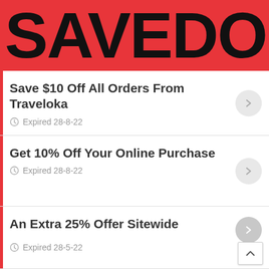SAVEDOUB
Save $10 Off All Orders From Traveloka — Expired 28-8-22
Get 10% Off Your Online Purchase — Expired 28-8-22
An Extra 25% Offer Sitewide — Expired 28-5-22